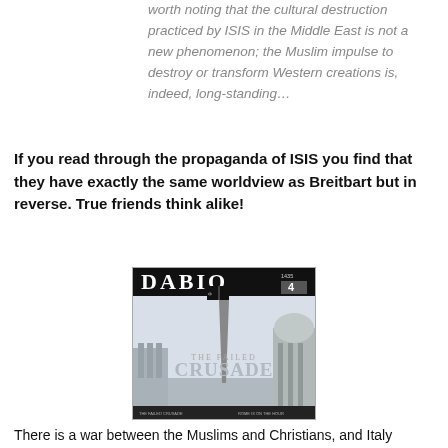worth noting that the cultural destruction practiced by ISIS in the Middle East is not a new phenomenon; the Muslim impulse to destroy or transform Western creations is, indeed, long-standing…
If you read through the propaganda of ISIS you find that they have exactly the same worldview as Breitbart but in reverse. True friends think alike!
[Figure (photo): Cover of Dabiq magazine (ISIS propaganda publication), issue 4, showing an obelisk with an ISIS flag against a backdrop of what appears to be St. Peter's Square in Vatican City. The cover reads 'THE FAILED CRUSADE' in large text.]
There is a war between the Muslims and Christians, and Italy